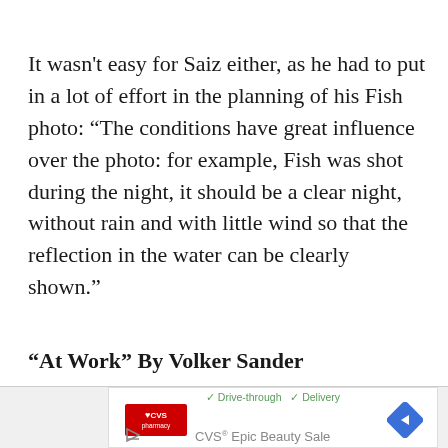It wasn't easy for Saiz either, as he had to put in a lot of effort in the planning of his Fish photo: “The conditions have great influence over the photo: for example, Fish was shot during the night, it should be a clear night, without rain and with little wind so that the reflection in the water can be clearly shown.”
“At Work” By Volker Sander
[Figure (other): CVS Pharmacy advertisement banner showing Drive-through and Delivery checkmarks, CVS Pharmacy logo in red box, navigation arrow diamond icon, and text 'CVS® Epic Beauty Sale']